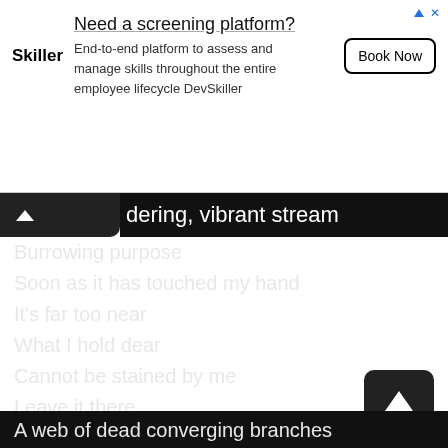[Figure (other): Advertisement banner for Skiller/DevSkiller platform. Title: 'Need a screening platform?' Body: 'End-to-end platform to assess and manage skills throughout the entire employee lifecycle DevSkiller'. Button: 'Book Now'.]
dering, vibrant stream
Burrowing purpose
Soon as it has touched my hand
It’s far too near
What I hold dear
Cannot be stained by me
Leave it there
I’ve a window and a chair
Burning throat, make me float
Let me lie where
Ego does not dare, but still aware
A web of dead converging branches